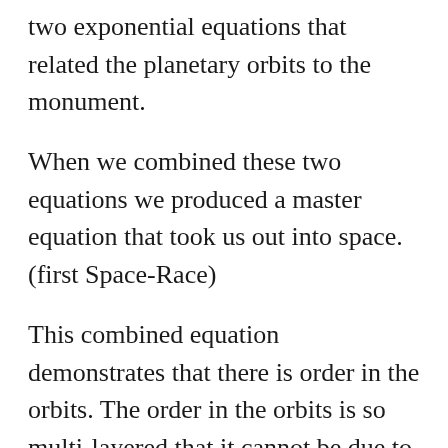two exponential equations that related the planetary orbits to the monument.
When we combined these two equations we produced a master equation that took us out into space.  (first Space-Race)
This combined equation demonstrates that there is order in the orbits. The order in the orbits is so multi-layered that it cannot be due to chance or natural causes.
The equation efficiently describes order in the Solar System, and does so without the need for gravity. Our views on the origins of the Solar System would need to be changed